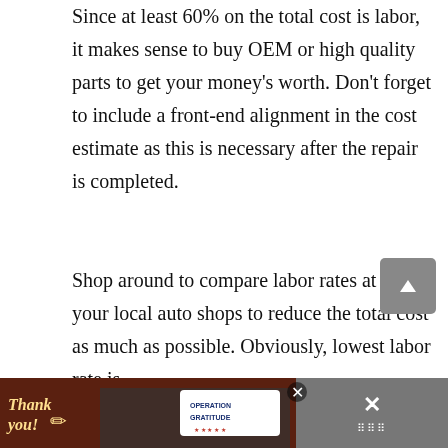Since at least 60% of the total cost is labor, it makes sense to buy OEM or high quality parts to get your money's worth. Don't forget to include a front-end alignment in the cost estimate as this is necessary after the repair is completed.
Shop around to compare labor rates at all your local auto shops to reduce the total cost as much as possible. Obviously, lowest labor rate is everything but often you can find a trustworthy ... a dealership would charge. Taxes and other fees ...
[Figure (screenshot): Chat widget overlay with teal background reading 'Want to ask a Mechanic online now? I can connect you ...' with a female avatar photo and a notification badge showing 1]
[Figure (photo): Advertisement banner for Operation Gratitude showing a group of firefighters with 'Thank you!' text and the Operation Gratitude logo]